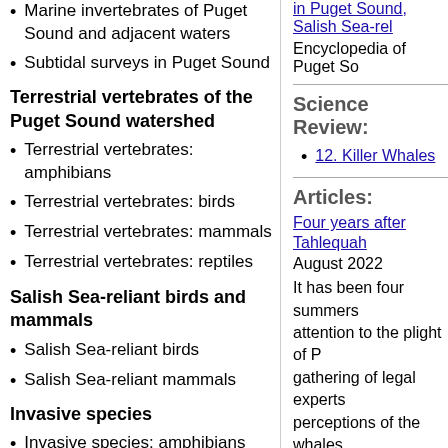Marine invertebrates of Puget Sound and adjacent waters
Subtidal surveys in Puget Sound
Terrestrial vertebrates of the Puget Sound watershed
Terrestrial vertebrates: amphibians
Terrestrial vertebrates: birds
Terrestrial vertebrates: mammals
Terrestrial vertebrates: reptiles
Salish Sea-reliant birds and mammals
Salish Sea-reliant birds
Salish Sea-reliant mammals
Invasive species
Invasive species: amphibians
Invasive species: reptiles
Invasive species: mammals
in Puget Sound, Salish Sea-rel...
Encyclopedia of Puget So...
Science Review:
12. Killer Whales
Articles:
Four years after Tahlequah
August 2022
It has been four summers... attention to the plight of P... gathering of legal experts... perceptions of the whales... thinking about ethical res...
Placing microphones on on...